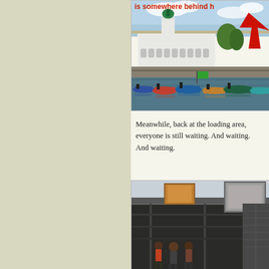[Figure (photo): Photograph of a harbor scene with colorful fishing boats moored in the foreground and a large white colonial-style building with a green dome in the background. Red text overlay at top reading 'is somewhere behind h...' with a red arrow pointing right.]
Meanwhile, back at the loading area, everyone is still waiting. And waiting. And waiting.
[Figure (photo): Photograph of a loading area with a corrugated metal roof/shed structure, a billboard or sign visible, and several people standing in the background.]